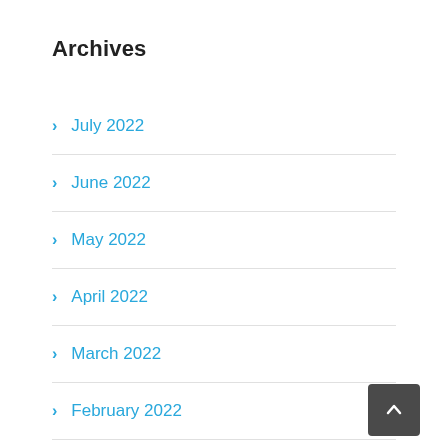Archives
July 2022
June 2022
May 2022
April 2022
March 2022
February 2022
January 2022